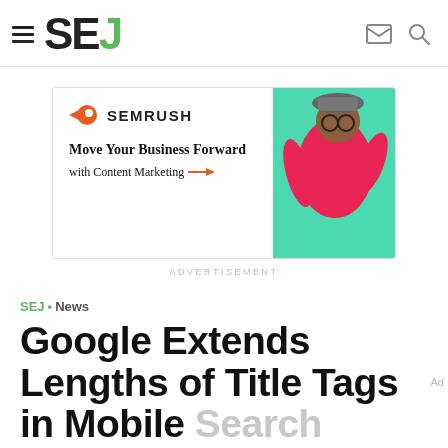SEJ
[Figure (illustration): Semrush advertisement banner: orange comet logo, SEMRUSH text, 'Move Your Business Forward with Content Marketing' tagline with orange arrow, man in red hoodie on green background]
ADVERTISEMENT
SEJ · News
Google Extends Lengths of Title Tags in Mobile Search Results